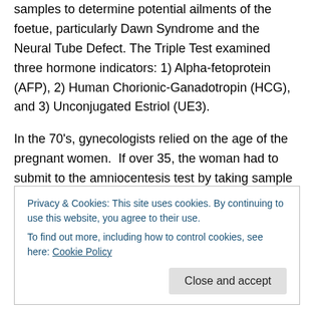samples to determine potential ailments of the foetue, particularly Dawn Syndrome and the Neural Tube Defect. The Triple Test examined three hormone indicators: 1) Alpha-fetoprotein (AFP), 2) Human Chorionic-Ganadotropin (HCG), and 3) Unconjugated Estriol (UE3).
In the 70's, gynecologists relied on the age of the pregnant women.  If over 35, the woman had to submit to the amniocentesis test by taking sample from the foetus liquid.  This test carried high risk that the foetus might die.  Consequently, an alternative test was discovered that relied on the testing of the Placenta liquid.
Privacy & Cookies: This site uses cookies. By continuing to use this website, you agree to their use.
To find out more, including how to control cookies, see here: Cookie Policy
in the foetus and...